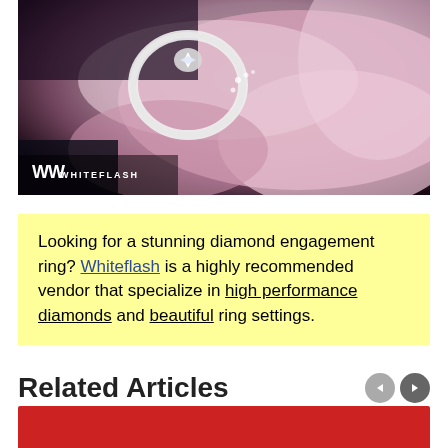[Figure (photo): Close-up photo of a diamond engagement ring resting on pink flower petals, with Whiteflash logo watermark in bottom-left corner]
Looking for a stunning diamond engagement ring? Whiteflash is a highly recommended vendor that specialize in high performance diamonds and beautiful ring settings.
Related Articles